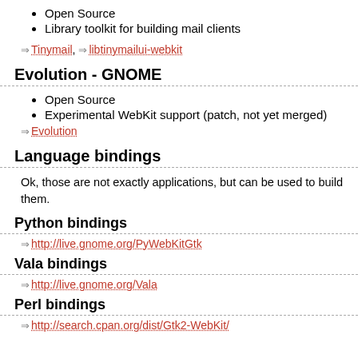Open Source
Library toolkit for building mail clients
⇒ Tinymail, ⇒ libtinymailui-webkit
Evolution - GNOME
Open Source
Experimental WebKit support (patch, not yet merged)
⇒ Evolution
Language bindings
Ok, those are not exactly applications, but can be used to build them.
Python bindings
⇒ http://live.gnome.org/PyWebKitGtk
Vala bindings
⇒ http://live.gnome.org/Vala
Perl bindings
⇒ http://search.cpan.org/dist/Gtk2-WebKit/